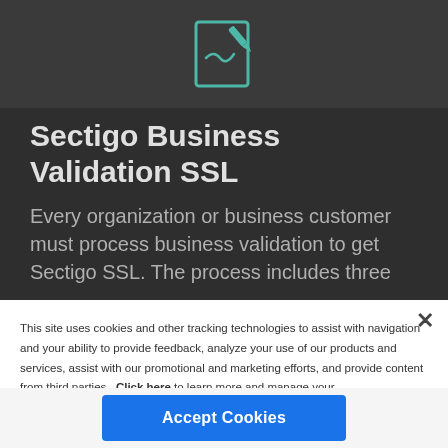[Figure (illustration): Teal/green icon of a document with a signature and a pen on a dark background]
Sectigo Business Validation SSL
Every organization or business customer must process business validation to get Sectigo SSL. The process includes three
This site uses cookies and other tracking technologies to assist with navigation and your ability to provide feedback, analyze your use of our products and services, assist with our promotional and marketing efforts, and provide content from third parties.  Click here to learn more and manage your preferences.  Privacy Policy
Accept Cookies